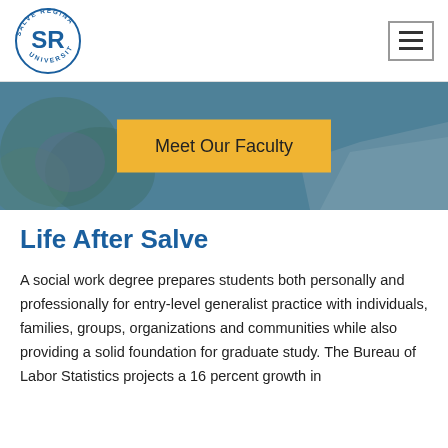[Figure (logo): Salve Regina University circular logo with SR monogram in blue]
[Figure (other): Hamburger menu icon (three horizontal lines) in a bordered box]
[Figure (photo): Hero banner photo of campus garden/path with teal blue overlay]
Meet Our Faculty
Life After Salve
A social work degree prepares students both personally and professionally for entry-level generalist practice with individuals, families, groups, organizations and communities while also providing a solid foundation for graduate study. The Bureau of Labor Statistics projects a 16 percent growth in